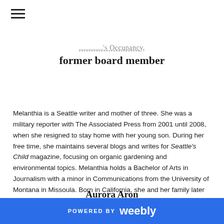≡
... Occupancy,
former board member
Melanthia is a Seattle writer and mother of three. She was a military reporter with The Associated Press from 2001 until 2008, when she resigned to stay home with her young son. During her free time, she maintains several blogs and writes for Seattle's Child magazine, focusing on organic gardening and environmental topics. Melanthia holds a Bachelor of Arts in Journalism with a minor in Communications from the University of Montana in Missoula. Born in California, she and her family later moved to a small farming town in northeast Montana. She is married to Michael Peterman, a software engineer with Disney Internet Group.Web site: www.gardeness.com
Aurora Aron
POWERED BY weebly